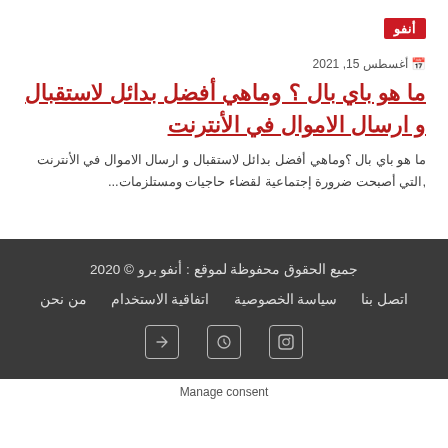أنفو
📅 أغسطس 15, 2021
ما هو باي بال ؟ وماهي أفضل بدائل لاستقبال و ارسال الاموال في الأنترنت
ما هو باي بال ؟وماهي أفضل بدائل لاستقبال و ارسال الاموال في الأنترنت ,التي أصبحت ضرورة إجتماعية لقضاء حاجيات ومستلزمات...
جميع الحقوق محفوظة لموقع : أنفو برو © 2020
من نحن   اتفاقية الاستخدام   سياسة الخصوصية   اتصل بنا
Manage consent